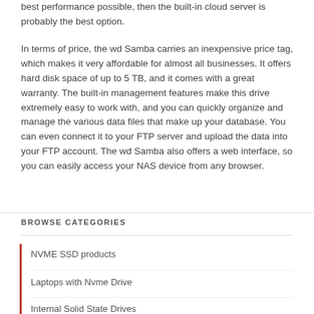best performance possible, then the built-in cloud server is probably the best option.

In terms of price, the wd Samba carries an inexpensive price tag, which makes it very affordable for almost all businesses. It offers hard disk space of up to 5 TB, and it comes with a great warranty. The built-in management features make this drive extremely easy to work with, and you can quickly organize and manage the various data files that make up your database. You can even connect it to your FTP server and upload the data into your FTP account. The wd Samba also offers a web interface, so you can easily access your NAS device from any browser.
BROWSE CATEGORIES
NVME SSD products
Laptops with Nvme Drive
Internal Solid State Drives